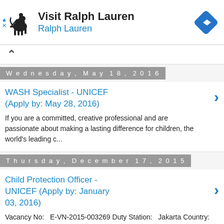[Figure (advertisement): Ralph Lauren advertisement banner with polo horse logo and blue diamond arrow icon. Text: 'Visit Ralph Lauren' and 'Ralph Lauren']
Wednesday, May 18, 2016
WASH Specialist - UNICEF (Apply by: May 28, 2016)
If you are a committed, creative professional and are passionate about making a lasting difference for children, the world's leading c...
Thursday, December 17, 2015
Child Protection Officer - UNICEF (Apply by: January 03, 2016)
Vacancy No:   E-VN-2015-003269 Duty Station:   Jakarta Country:   Indonesia Region:   EAPRO Job Level:   Position#:     60000175...
Wednesday, November 25, 2015